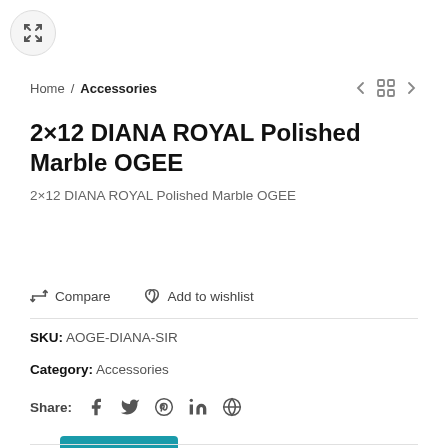[Figure (other): Expand/fullscreen button icon (arrows pointing outward) in a circular button]
Home / Accessories
2×12 DIANA ROYAL Polished Marble OGEE
2×12 DIANA ROYAL Polished Marble OGEE
Get a Quote
Compare   Add to wishlist
SKU: AOGE-DIANA-SIR
Category: Accessories
Share: